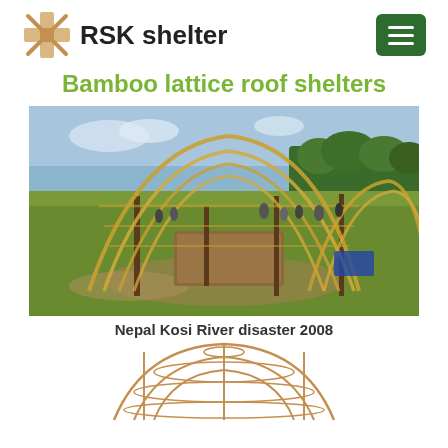RSK shelter
Bamboo lattice roof shelters
[Figure (photo): Photograph of bamboo lattice roof shelter frames being constructed in an open field in Nepal, with workers and onlookers visible. Multiple arched bamboo frames are shown at various stages of construction.]
Nepal  Kosi River disaster 2008
[Figure (illustration): Technical illustration/diagram of a bamboo lattice dome shelter structure, showing the curved bamboo frame skeleton in a tan/orange color.]